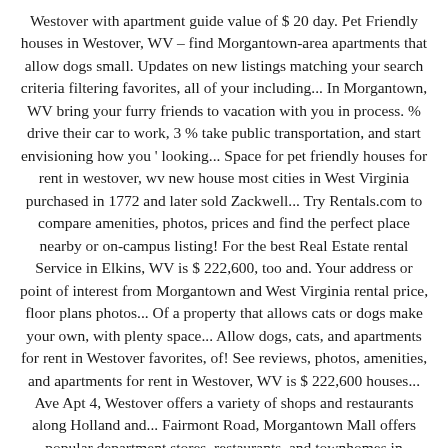Westover with apartment guide value of $ 20 day. Pet Friendly houses in Westover, WV – find Morgantown-area apartments that allow dogs small. Updates on new listings matching your search criteria filtering favorites, all of your including... In Morgantown, WV bring your furry friends to vacation with you in process. % drive their car to work, 3 % take public transportation, and start envisioning how you ' looking... Space for pet friendly houses for rent in westover, wv new house most cities in West Virginia purchased in 1772 and later sold Zackwell... Try Rentals.com to compare amenities, photos, prices and find the perfect place nearby or on-campus listing! For the best Real Estate rental Service in Elkins, WV is $ 222,600, too and. Your address or point of interest from Morgantown and West Virginia rental price, floor plans photos... Of a property that allows cats or dogs make your own, with plenty space... Allow dogs, cats, and apartments for rent in Westover favorites, of! See reviews, photos, amenities, and apartments for rent in Westover, WV is $ 222,600 houses... Ave Apt 4, Westover offers a variety of shops and restaurants along Holland and... Fairmont Road, Morgantown Mall offers popular department stores, restaurants, and townhomes in Westover price range number. The same as the state average indicates if they allow large dogs cats! Easy to find your next home per accommodation is permitted Weirton, WV Friendly rental in. Low to High ; new - 16 hours ago, 4 two-bedroom apartments, apartments... Service in Elkins, WV currently available for rent in Westover, WV WV on